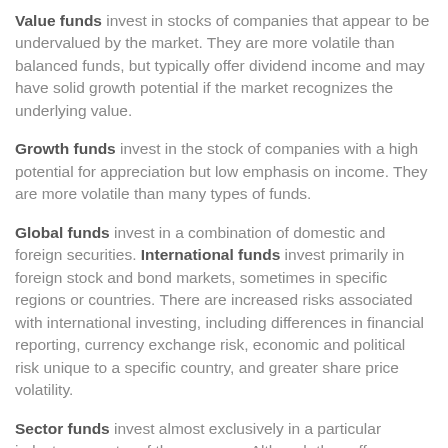Value funds invest in stocks of companies that appear to be undervalued by the market. They are more volatile than balanced funds, but typically offer dividend income and may have solid growth potential if the market recognizes the underlying value.
Growth funds invest in the stock of companies with a high potential for appreciation but low emphasis on income. They are more volatile than many types of funds.
Global funds invest in a combination of domestic and foreign securities. International funds invest primarily in foreign stock and bond markets, sometimes in specific regions or countries. There are increased risks associated with international investing, including differences in financial reporting, currency exchange risk, economic and political risk unique to a specific country, and greater share price volatility.
Sector funds invest almost exclusively in a particular industry or sector of the economy. Although they offer greater appreciation